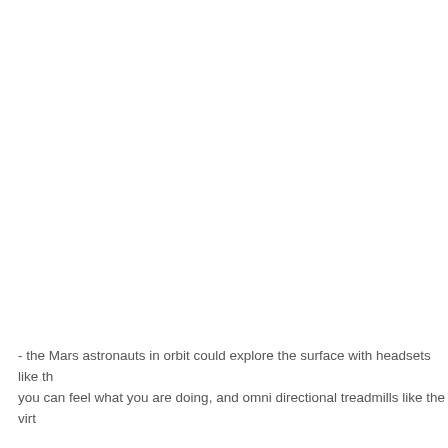- the Mars astronauts in orbit could explore the surface with headsets like th you can feel what you are doing, and omni directional treadmills like the virt